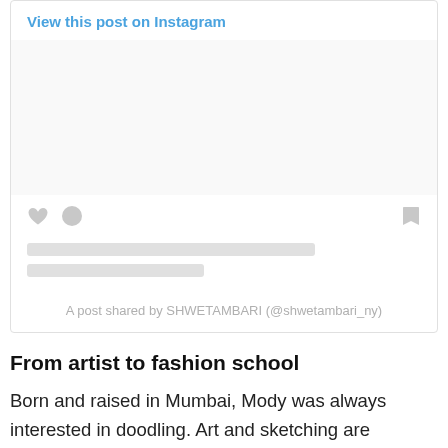[Figure (screenshot): Instagram embedded post card showing 'View this post on Instagram' link, placeholder image area, social action icons (heart, comment, bookmark), text placeholder bars, and attribution text 'A post shared by SHWETAMBARI (@shwetambari_ny)']
From artist to fashion school
Born and raised in Mumbai, Mody was always interested in doodling. Art and sketching are something that resonated with her and to hone her craft, her parents enrolled her in art classes as a